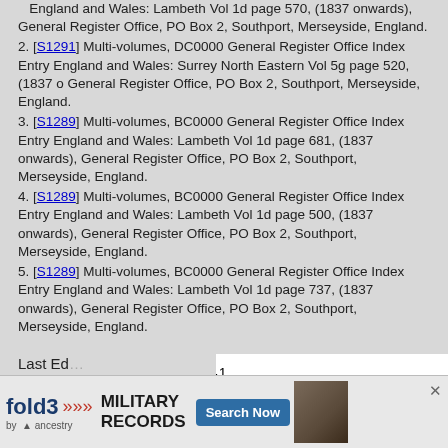England and Wales: Lambeth Vol 1d page 570, (1837 onwards), General Register Office, PO Box 2, Southport, Merseyside, England.
[S1291] Multi-volumes, DC0000 General Register Office Index Entry England and Wales: Surrey North Eastern Vol 5g page 520, (1837 onwards), General Register Office, PO Box 2, Southport, Merseyside, England.
[S1289] Multi-volumes, BC0000 General Register Office Index Entry England and Wales: Lambeth Vol 1d page 681, (1837 onwards), General Register Office, PO Box 2, Southport, Merseyside, England.
[S1289] Multi-volumes, BC0000 General Register Office Index Entry England and Wales: Lambeth Vol 1d page 500, (1837 onwards), General Register Office, PO Box 2, Southport, Merseyside, England.
[S1289] Multi-volumes, BC0000 General Register Office Index Entry England and Wales: Lambeth Vol 1d page 737, (1837 onwards), General Register Office, PO Box 2, Southport, Merseyside, England.
May Rose Stagg
F, #5698, b. 1915
Pop-up Pedigree
| Role | Person | Details |
| --- | --- | --- |
| Father | David Henry Theodore Stagg | b. 27 Feb 1972 |
| Mother | Emily Violet Randell | b. 14 Aug 1890, d. |
Last Ed...